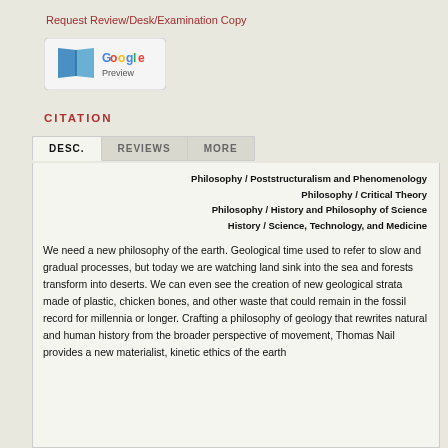Request Review/Desk/Examination Copy
[Figure (logo): Google Preview button with book icon]
CITATION
DESC.  REVIEWS  MORE
Philosophy / Poststructuralism and Phenomenology
Philosophy / Critical Theory
Philosophy / History and Philosophy of Science
History / Science, Technology, and Medicine
We need a new philosophy of the earth. Geological time used to refer to slow and gradual processes, but today we are watching land sink into the sea and forests transform into deserts. We can even see the creation of new geological strata made of plastic, chicken bones, and other waste that could remain in the fossil record for millennia or longer. Crafting a philosophy of geology that rewrites natural and human history from the broader perspective of movement, Thomas Nail provides a new materialist, kinetic ethics of the earth